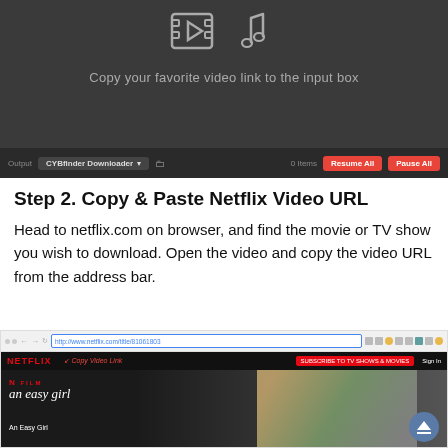[Figure (screenshot): Dark-themed video downloader app UI showing film and music note icons with text 'Copy your favorite video link to the input box' and a toolbar with Output, CYBfinder Downloader dropdown, folder icon, 0 Items count, Resume All and Pause All red buttons]
Step 2. Copy & Paste Netflix Video URL
Head to netflix.com on browser, and find the movie or TV show you wish to download. Open the video and copy the video URL from the address bar.
[Figure (screenshot): Browser screenshot showing Netflix website open with URL bar containing http://www.netflix.com/title/81061803, a 'Copy Video Link' red annotation label with arrow pointing to the URL bar, and Netflix content showing the movie 'an easy girl' / 'An Easy Girl' with two women in background]